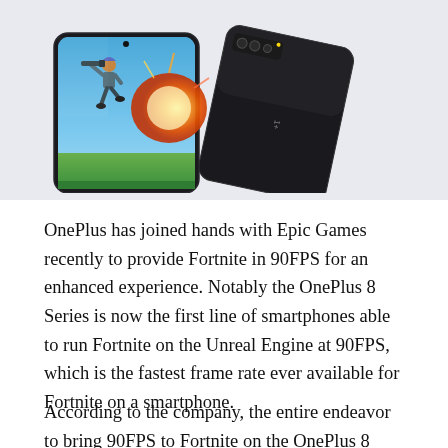[Figure (photo): OnePlus 8 smartphones shown from front and back, with Fortnite game (character running with weapon amid explosion) displayed on the screen. Two phones overlapping, one showing the screen, one showing the back with triple camera setup.]
OnePlus has joined hands with Epic Games recently to provide Fortnite in 90FPS for an enhanced experience. Notably the OnePlus 8 Series is now the first line of smartphones able to run Fortnite on the Unreal Engine at 90FPS, which is the fastest frame rate ever available for Fortnite on a smartphone.
According to the company, the entire endeavor to bring 90FPS to Fortnite on the OnePlus 8